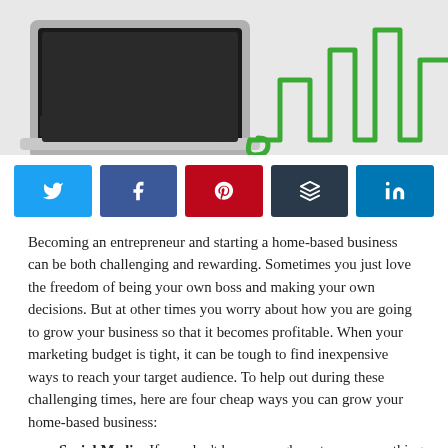[Figure (photo): Hero image showing a laptop on a white surface with a green cable forming bar chart shapes in the background]
[Figure (infographic): Row of five social media share buttons: Twitter (blue), Facebook (dark blue), Pinterest (red), Buffer (dark gray), LinkedIn (blue)]
Becoming an entrepreneur and starting a home-based business can be both challenging and rewarding. Sometimes you just love the freedom of being your own boss and making your own decisions. But at other times you worry about how you are going to grow your business so that it becomes profitable. When your marketing budget is tight, it can be tough to find inexpensive ways to reach your target audience. To help out during these challenging times, here are four cheap ways you can grow your home-based business:
Social Media: If you don't have enough customers, one thing you do have is plenty of time. Use it well to build a social media presence. It costs nothing to use Facebook, Twitter, LinkedIn, or start a blog. What is does require is a consistent